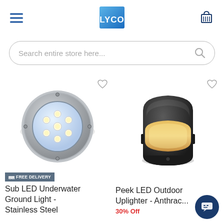LYCO - navigation header with hamburger menu and cart icon
Search entire store here...
[Figure (photo): Sub LED Underwater Ground Light in stainless steel, circular with multiple LED spots, viewed from above]
[Figure (photo): Peek LED Outdoor Uplighter in anthracite dark finish, wall mount half-dome shape with warm LED glow]
FREE DELIVERY
Sub LED Underwater Ground Light - Stainless Steel
Peek LED Outdoor Uplighter - Anthracite
30% Off